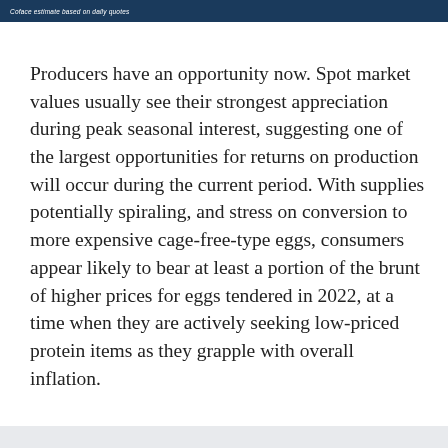Coface estimate based on daily quotes
Producers have an opportunity now. Spot market values usually see their strongest appreciation during peak seasonal interest, suggesting one of the largest opportunities for returns on production will occur during the current period. With supplies potentially spiraling, and stress on conversion to more expensive cage-free-type eggs, consumers appear likely to bear at least a portion of the brunt of higher prices for eggs tendered in 2022, at a time when they are actively seeking low-priced protein items as they grapple with overall inflation.